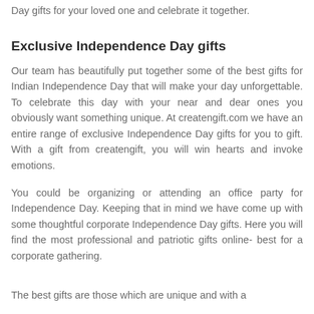Day gifts for your loved one and celebrate it together.
Exclusive Independence Day gifts
Our team has beautifully put together some of the best gifts for Indian Independence Day that will make your day unforgettable. To celebrate this day with your near and dear ones you obviously want something unique. At createngift.com we have an entire range of exclusive Independence Day gifts for you to gift. With a gift from createngift, you will win hearts and invoke emotions.
You could be organizing or attending an office party for Independence Day. Keeping that in mind we have come up with some thoughtful corporate Independence Day gifts. Here you will find the most professional and patriotic gifts online- best for a corporate gathering.
The best gifts are those which are unique and with a